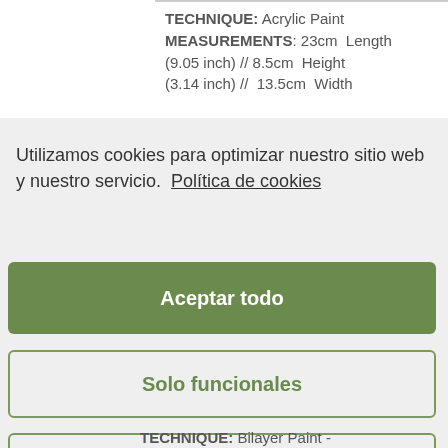TECHNIQUE: Acrylic Paint MEASUREMENTS: 23cm Length (9.05 inch) // 8.5cm Height (3.14 inch) // 13.5cm Width
Utilizamos cookies para optimizar nuestro sitio web y nuestro servicio. Política de cookies
Aceptar todo
Solo funcionales
Ver preferencias
TECHNIQUE: Bilayer Paint -